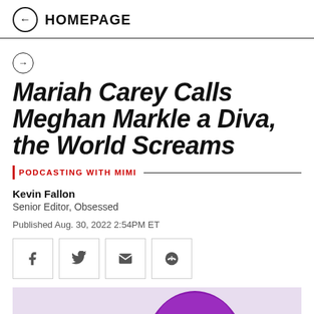HOMEPAGE
Mariah Carey Calls Meghan Markle a Diva, the World Screams
PODCASTING WITH MIMI
Kevin Fallon
Senior Editor, Obsessed
Published Aug. 30, 2022 2:54PM ET
[Figure (other): Social share buttons: Facebook, Twitter, Email, Reddit]
[Figure (photo): Partial image of a person with purple hair/hat at the bottom of the page]